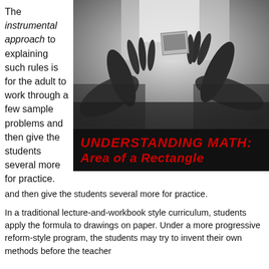The instrumental approach to explaining such rules is for the adult to work through a few sample problems and then give the students several more for practice.
[Figure (photo): Black and white photo of hands holding/passing a small photograph]
[Figure (infographic): Dark banner with red text reading 'UNDERSTANDING MATH: Area of a Rectangle']
In a traditional lecture-and-workbook style curriculum, students apply the formula to drawings on paper. Under a more progressive reform-style program, the students may try to invent their own methods before the teacher